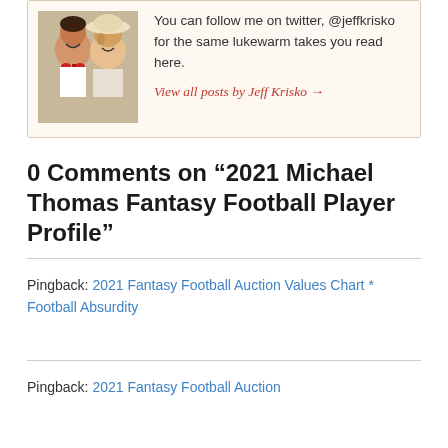[Figure (photo): Author photo showing two young children]
You can follow me on twitter, @jeffkrisko for the same lukewarm takes you read here.
View all posts by Jeff Krisko →
0 Comments on “2021 Michael Thomas Fantasy Football Player Profile”
Pingback: 2021 Fantasy Football Auction Values Chart * Football Absurdity
Pingback: 2021 Fantasy Football Auction